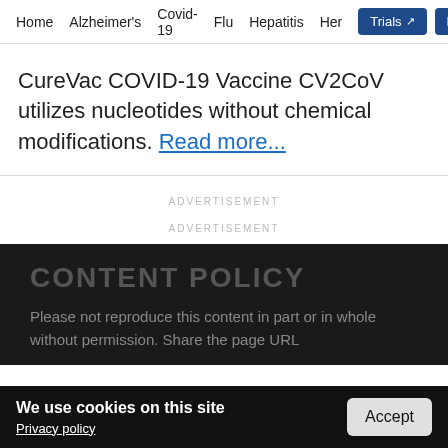Home  Alzheimer's  Covid-19  Flu  Hepatitis  Her  Trials  Labs
CureVac COVID-19 Vaccine CV2CoV utilizes nucleotides without chemical modifications. Read more...
ADVERTISEMENT
ADVERTISEMENT
CONTENT POLICY
Please not reproduce this content in part or in whole without permission. Share the page URL
We use cookies on this site  Privacy policy  Accept